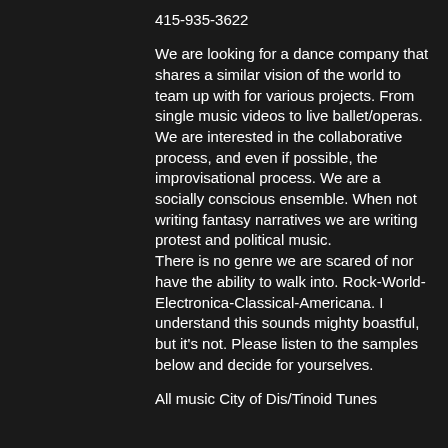415-935-3622
We are looking for a dance company that shares a similar vision of the world to team up with for various projects. From single music videos to live ballet/operas. We are interested in the collaborative process, and even if possible, the improvisational process. We are a socially conscious ensemble. When not writing fantasy narratives we are writing protest and political music.
There is no genre we are scared of nor have the ability to walk into. Rock-World-Electronica-Classical-Americana. I understand this sounds mighty boastful, but it's not. Please listen to the samples below and decide for yourselves.
All music City of Dis/Tinoid Tunes